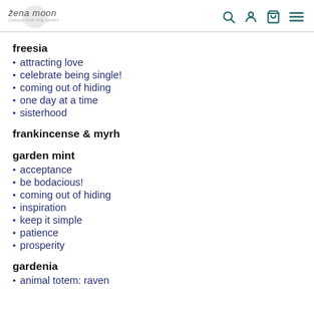žena moon — navigation icons: search, account, cart, menu
freesia
attracting love
celebrate being single!
coming out of hiding
one day at a time
sisterhood
frankincense & myrh
garden mint
acceptance
be bodacious!
coming out of hiding
inspiration
keep it simple
patience
prosperity
gardenia
animal totem: raven